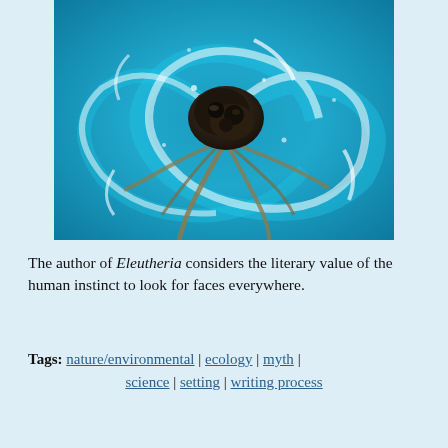[Figure (photo): Aerial view of a rocky outcrop surrounded by swirling turquoise ocean water with white foam patterns radiating outward]
The author of Eleutheria considers the literary value of the human instinct to look for faces everywhere.
Tags: nature/environmental | ecology | myth | science | setting | writing process